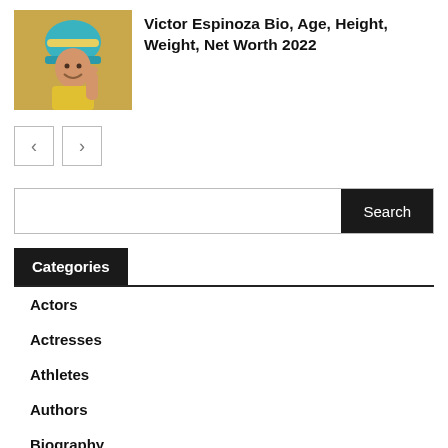[Figure (photo): Photo of Victor Espinoza, a jockey wearing a teal/yellow helmet and racing gear, giving a thumbs up]
Victor Espinoza Bio, Age, Height, Weight, Net Worth 2022
[Figure (other): Pagination navigation buttons: left arrow and right arrow]
[Figure (other): Search input field with a dark Search button]
Categories
Actors
Actresses
Athletes
Authors
Biography
Business